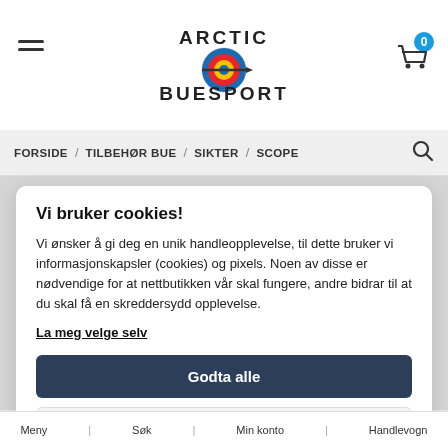Arctic Buesport
FORSIDE / TILBEHØR BUE / SIKTER / SCOPE
Vi bruker cookies!
Vi ønsker å gi deg en unik handleopplevelse, til dette bruker vi informasjonskapsler (cookies) og pixels. Noen av disse er nødvendige for at nettbutikken vår skal fungere, andre bidrar til at du skal få en skreddersydd opplevelse.
La meg velge selv
Godta alle
Godta kun nødvendige
Meny   Søk   Min konto   Handlevogn